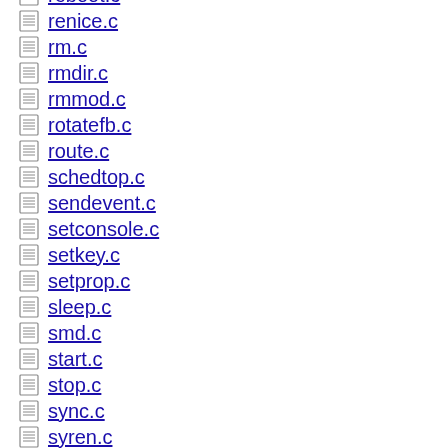reboot.c
renice.c
rm.c
rmdir.c
rmmod.c
rotatefb.c
route.c
schedtop.c
sendevent.c
setconsole.c
setkey.c
setprop.c
sleep.c
smd.c
start.c
stop.c
sync.c
syren.c
toolbox.c